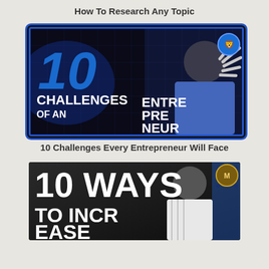How To Research Any Topic
[Figure (screenshot): YouTube thumbnail for '10 Challenges Every Entrepreneur Will Face' video — blue themed with large '10' text, 'CHALLENGES OF AN ENTREPRENEUR' text overlay, and person with hands raised]
10 Challenges Every Entrepreneur Will Face
[Figure (screenshot): YouTube thumbnail for '10 Ways To Increase...' video — dark gold themed with '10 WAYS TO INCREASE' text overlay and person standing]